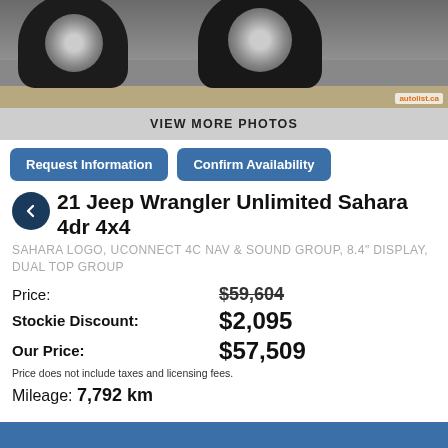[Figure (photo): Bottom portion of a Jeep Wrangler vehicle showing two large off-road tires and wheels, ground level view, with a small AutoList watermark at bottom right]
VIEW MORE PHOTOS
Request Information
Confirm Availability
21 Jeep Wrangler Unlimited Sahara 4dr 4x4
SAHARA LOGO, UCONNECT 4C NAV & SOUND GROUP, 8.4" DISPLAY, DUAL TOP GROUP
| Price: | $59,604 |
| Stockie Discount: | $2,095 |
| Our Price: | $57,509 |
Price does not include taxes and licensing fees.
Mileage: 7,792 km